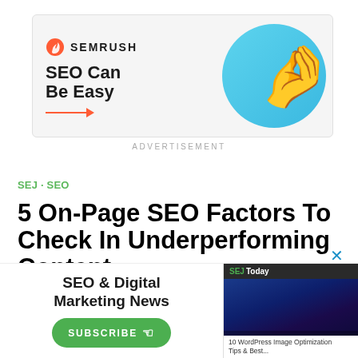[Figure (illustration): Semrush advertisement banner with logo, 'SEO Can Be Easy' tagline with orange arrow, and 3D hand emoji on blue circle background]
ADVERTISEMENT
SEJ · SEO
5 On-Page SEO Factors To Check In Underperforming Content
[Figure (illustration): SEO & Digital Marketing News subscription ad with SEJToday newsletter preview and Subscribe button]